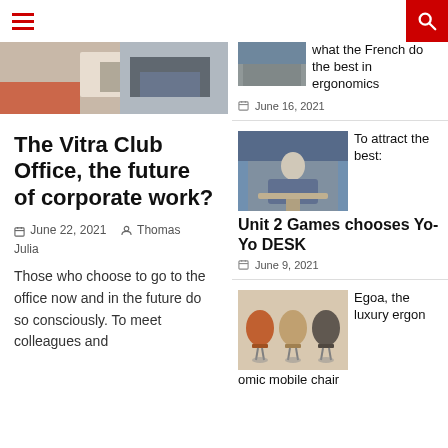Navigation header with hamburger menu and search button
[Figure (photo): Partial office/meeting scene photo at top of left column]
The Vitra Club Office, the future of corporate work?
June 22, 2021   Thomas Julia
Those who choose to go to the office now and in the future do so consciously. To meet colleagues and
[Figure (photo): Small thumbnail of office/ergonomics scene]
what the French do the best in ergonomics
June 16, 2021
[Figure (photo): Man sitting on height-adjustable desk]
To attract the best: Unit 2 Games chooses Yo-Yo DESK
June 9, 2021
[Figure (photo): Three ergonomic mobile chairs in different colors]
Egoa, the luxury ergonomic mobile chair